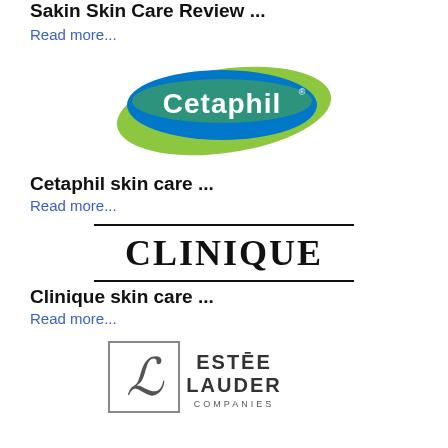Sakin Skin Care Review ...
Read more...
[Figure (logo): Cetaphil brand logo with blue oval and green leaf shapes]
Cetaphil skin care ...
Read more...
[Figure (logo): Clinique brand logo in bold serif text between two horizontal lines]
Clinique skin care ...
Read more...
[Figure (logo): Estee Lauder Companies logo with decorative L monogram and text]